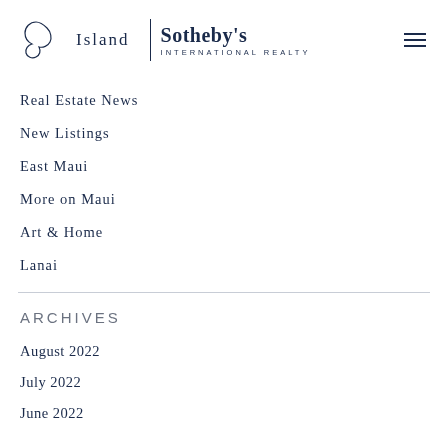Island | Sotheby's INTERNATIONAL REALTY
Real Estate News
New Listings
East Maui
More on Maui
Art & Home
Lanai
ARCHIVES
August 2022
July 2022
June 2022